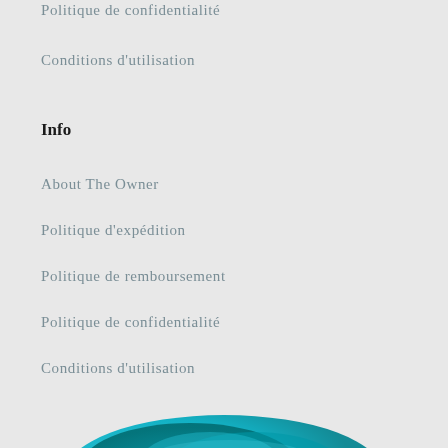Politique de confidentialité
Conditions d'utilisation
Info
About The Owner
Politique d'expédition
Politique de remboursement
Politique de confidentialité
Conditions d'utilisation
[Figure (photo): Partial teal/turquoise colored image at the bottom of the page, appears to be a decorative photo or logo element]